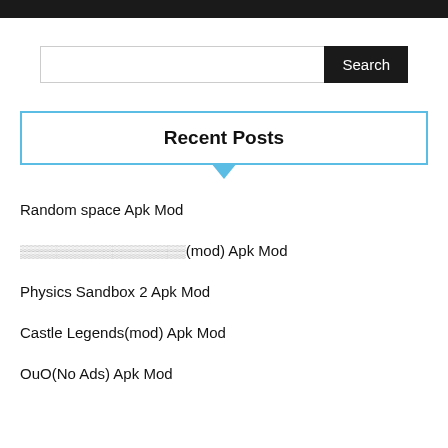Search
Recent Posts
Random space Apk Mod
ココココココココココココココココココ(mod) Apk Mod
Physics Sandbox 2 Apk Mod
Castle Legends(mod) Apk Mod
OuO(No Ads) Apk Mod